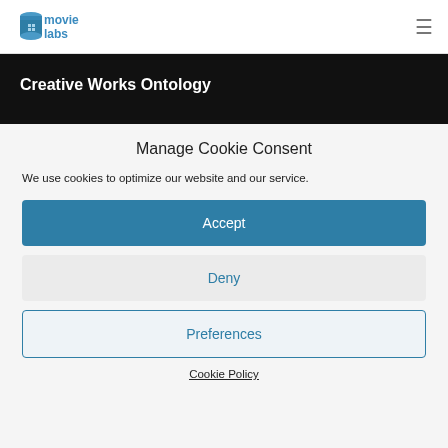movielabs [logo] [hamburger menu]
Creative Works Ontology
Manage Cookie Consent
We use cookies to optimize our website and our service.
Accept
Deny
Preferences
Cookie Policy